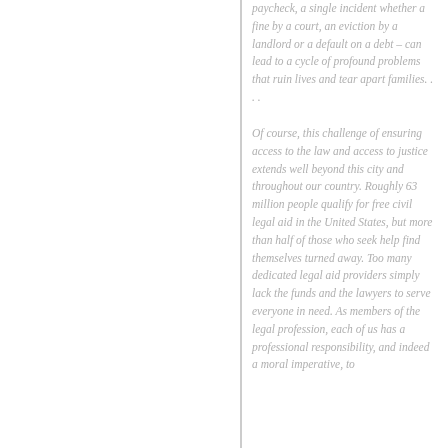paycheck, a single incident whether a fine by a court, an eviction by a landlord or a default on a debt – can lead to a cycle of profound problems that ruin lives and tear apart families. . . .
Of course, this challenge of ensuring access to the law and access to justice extends well beyond this city and throughout our country. Roughly 63 million people qualify for free civil legal aid in the United States, but more than half of those who seek help find themselves turned away. Too many dedicated legal aid providers simply lack the funds and the lawyers to serve everyone in need. As members of the legal profession, each of us has a professional responsibility, and indeed a moral imperative, to